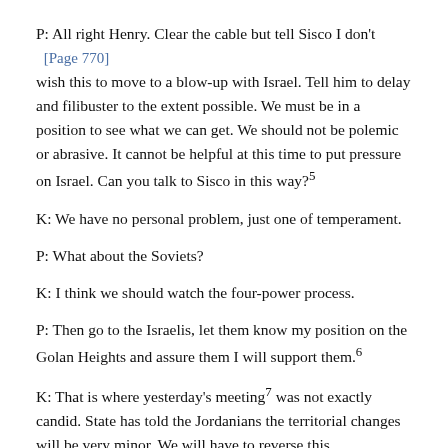P: All right Henry. Clear the cable but tell Sisco I don't [Page 770] wish this to move to a blow-up with Israel. Tell him to delay and filibuster to the extent possible. We must be in a position to see what we can get. We should not be polemic or abrasive. It cannot be helpful at this time to put pressure on Israel. Can you talk to Sisco in this way?5
K: We have no personal problem, just one of temperament.
P: What about the Soviets?
K: I think we should watch the four-power process.
P: Then go to the Israelis, let them know my position on the Golan Heights and assure them I will support them.6
K: That is where yesterday's meeting7 was not exactly candid. State has told the Jordanians the territorial changes will be very minor. We will have to reverse this.
P: Obviously we will have to handle the Jordanians in order to get a settlement.
K: The four-power process must be slowed down